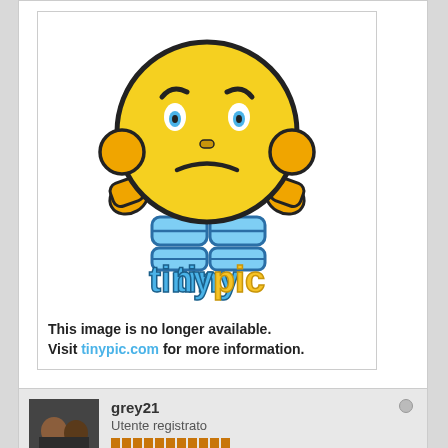[Figure (illustration): Tinypic placeholder image showing a sad yellow emoji with blue hands and the tinypic logo, with text 'This image is no longer available. Visit tinypic.com for more information.']
Dopo due dècadi decàdi.
Likes 1
grey21
Utente registrato